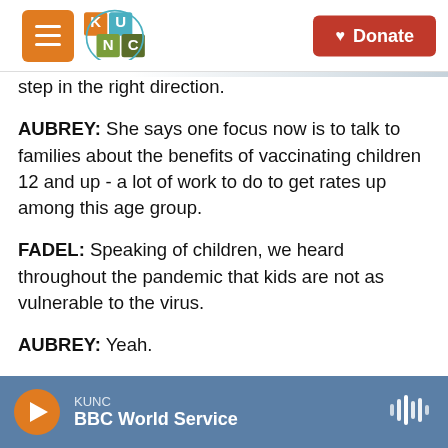KUNC logo and navigation with Donate button
step in the right direction.
AUBREY: She says one focus now is to talk to families about the benefits of vaccinating children 12 and up - a lot of work to do to get rates up among this age group.
FADEL: Speaking of children, we heard throughout the pandemic that kids are not as vulnerable to the virus.
AUBREY: Yeah.
FADEL: But a new analysis from the CDC points to
KUNC | BBC World Service